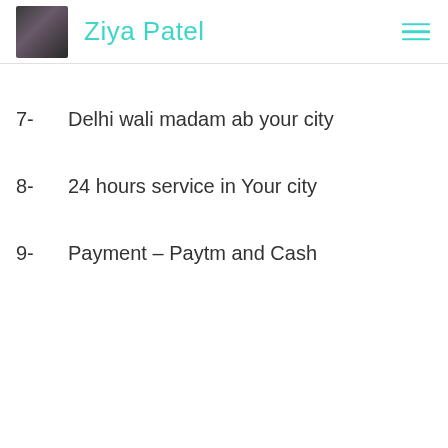Ziya Patel
7-   Delhi wali madam ab your city
8-   24 hours service in Your city
9-   Payment – Paytm and Cash